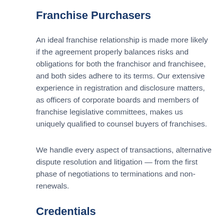Franchise Purchasers
An ideal franchise relationship is made more likely if the agreement properly balances risks and obligations for both the franchisor and franchisee, and both sides adhere to its terms. Our extensive experience in registration and disclosure matters, as officers of corporate boards and members of franchise legislative committees, makes us uniquely qualified to counsel buyers of franchises.
We handle every aspect of transactions, alternative dispute resolution and litigation — from the first phase of negotiations to terminations and non-renewals.
Credentials